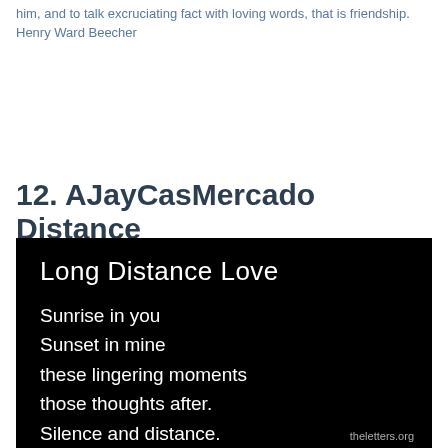him, and to talk excruciating fact with loving words, that is friendship. Henry Ward Beecher
12. AJayCasMercado Distance
[Figure (illustration): Black background image containing handwritten-style white text. Title: 'Long Distance Love'. Poem text: 'Sunrise in you / Sunset in mine / these lingering moments / those thoughts after. / Silence and distance. / I feel you in me'. Watermark: 'theletters.org']
theletters.org